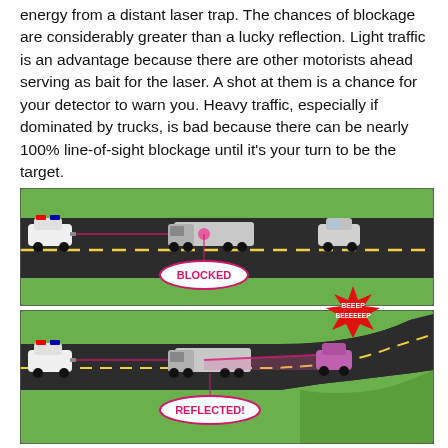energy from a distant laser trap. The chances of blockage are considerably greater than a lucky reflection. Light traffic is an advantage because there are other motorists ahead serving as bait for the laser. A shot at them is a chance for your detector to warn you. Heavy traffic, especially if dominated by trucks, is bad because there can be nearly 100% line-of-sight blockage until it's your turn to be the target.
[Figure (illustration): Diagram showing a road scene with a police car on the left firing a laser (red line) at a truck in the middle of the road. The laser is BLOCKED by the truck, so a car on the right is not targeted. A label 'BLOCKED' in an oval appears below the truck.]
[Figure (illustration): Diagram showing a road scene with a police car on the left firing a laser at a truck. The laser is REFLECTED off the truck and curves to hit a car further down a curved road on the right. A starburst shape labeled 'BEEEP BEEEEEEP' appears above the car being hit. A label 'REFLECTED!' in an oval appears below the truck.]